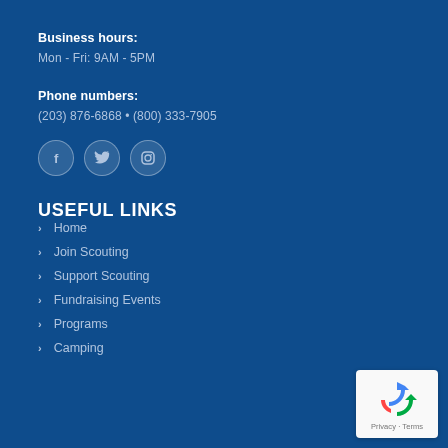Business hours:
Mon - Fri: 9AM - 5PM
Phone numbers:
(203) 876-6868 • (800) 333-7905
[Figure (illustration): Three social media icons: Facebook, Twitter, Instagram in dark circle outlines]
USEFUL LINKS
Home
Join Scouting
Support Scouting
Fundraising Events
Programs
Camping